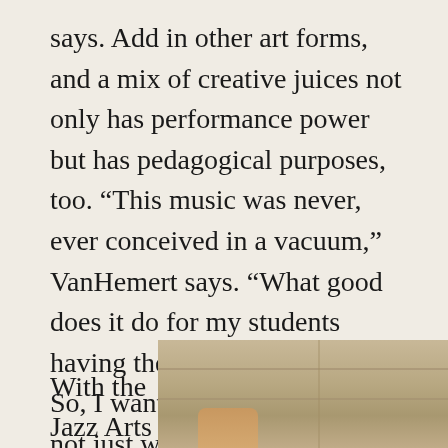says. Add in other art forms, and a mix of creative juices not only has performance power but has pedagogical purposes, too. “This music was never, ever conceived in a vacuum,” VanHemert says. “What good does it do for my students having them learn it in one? So, I want them to collaborate not just with other musicians but with other artists.”
With the Jazz Arts
[Figure (photo): Partial photo showing what appears to be a ceiling or wall with horizontal lines, and a hand visible at the bottom]